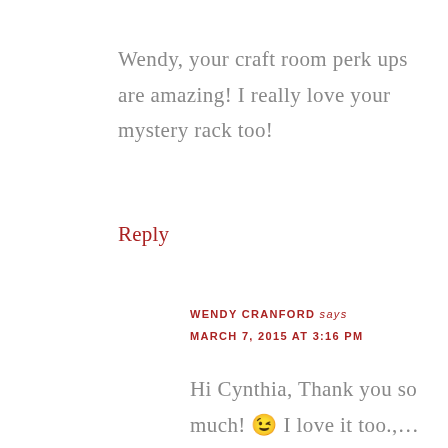Wendy, your craft room perk ups are amazing! I really love your mystery rack too!
Reply
WENDY CRANFORD says
MARCH 7, 2015 AT 3:16 PM
Hi Cynthia, Thank you so much! 😉 I love it too.,… Any idea what that may have been used for?